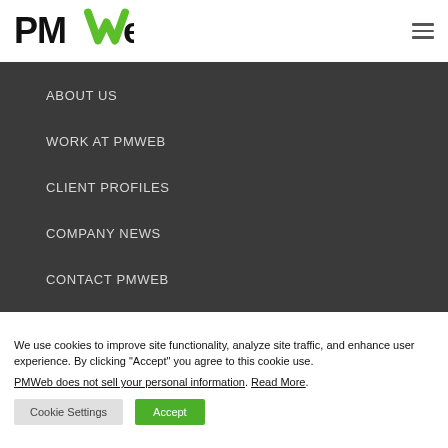[Figure (logo): PMWeb logo with stylized green W and black PM text]
ABOUT US
WORK AT PMWEB
CLIENT PROFILES
COMPANY NEWS
CONTACT PMWEB
We use cookies to improve site functionality, analyze site traffic, and enhance user experience. By clicking "Accept" you agree to this cookie use.
PMWeb does not sell your personal information. Read More.
Cookie Settings   Accept